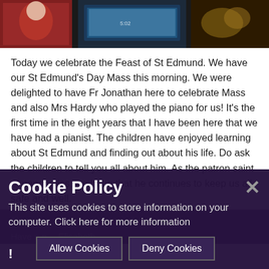[Figure (photo): Cropped photo showing people including someone in a red jacket, with screens/displays visible in the background]
Today we celebrate the Feast of St Edmund. We have our St Edmund's Day Mass this morning. We were delighted to have Fr Jonathan here to celebrate Mass and also Mrs Hardy who played the piano for us! It's the first time in the eight years that I have been here that we have had a pianist. The children have enjoyed learning about St Edmund and finding out about his life. Do ask the children to tell you all about him. As the patron saint of pandemics, we hope that he continues to keep us all safe and well.
There is … show his/theirs first in M…
Have a p… Elisabeth…
Cookie Policy
This site uses cookies to store information on your computer. Click here for more information
Allow Cookies    Deny Cookies